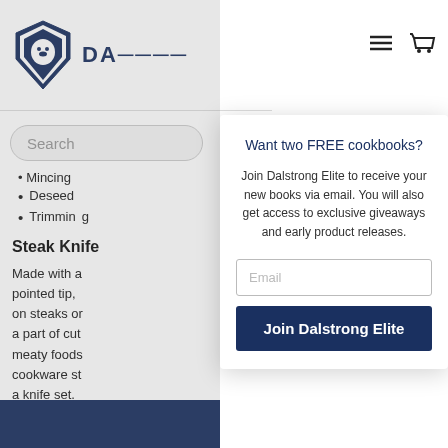[Figure (logo): Dalstrong lion shield logo with brand name partially visible]
Search
Mincing
Deseed
Trimming
Steak Knife
Made with a pointed tip, on steaks or a part of cutl meaty foods cookware st a knife set.
Slicing
Want two FREE cookbooks?
Join Dalstrong Elite to receive your new books via email. You will also get access to exclusive giveaways and early product releases.
Email
Join Dalstrong Elite